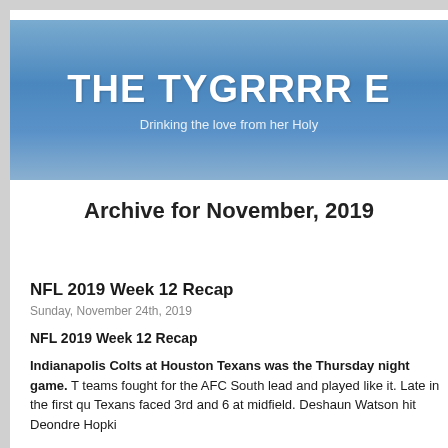THE TYGRRRR E
Drinking the love from her Holy
Archive for November, 2019
NFL 2019 Week 12 Recap
Sunday, November 24th, 2019
NFL 2019 Week 12 Recap
Indianapolis Colts at Houston Texans was the Thursday night game. T teams fought for the AFC South lead and played like it. Late in the first qu Texans faced 3rd and 6 at midfield. Deshaun Watson hit Deondre Hopki